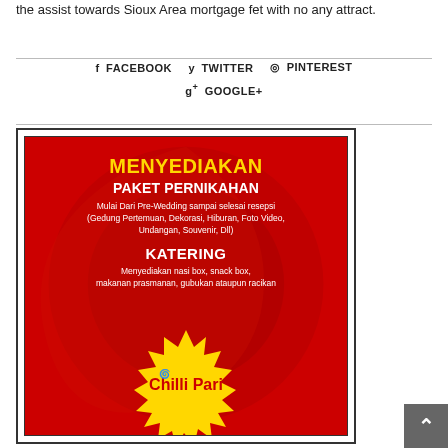the assist towards Sioux Area mortgage fet with no any attract.
FACEBOOK  TWITTER  PINTEREST  GOOGLE+
[Figure (infographic): Red advertisement banner for 'Chilli Pari' catering and wedding package services. Yellow text reads MENYEDIAKAN, white bold text PAKET PERNIKAHAN, white text describing wedding services from pre-wedding to reception. White bold KATERING header with description of food services. Yellow sunburst badge at bottom with Chilli Pari branding in red.]